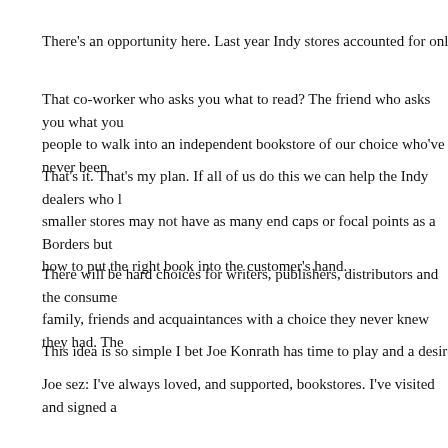There's an opportunity here. Last year Indy stores accounted for only 2% of Sa
That co-worker who asks you what to read? The friend who asks you what you people to walk into an independent bookstore of our choice who've never been
That's it. That's my plan. If all of us do this we can help the Indy dealers who l smaller stores may not have as many end caps or focal points as a Borders but how to put the right book into the customer's hand.
There will be hard choices for writers, publishers, distributors and the consume family, friends and acquaintances with a choice they never knew they had. The
This idea is so simple I bet Joe Konrath has time to play and a desire to help.
Joe sez: I've always loved, and supported, bookstores. I've visited and signed a thanked thousands of booksellers in my novel acknowledgments. Even though 5000 print books in my personal library.
What Ruth is asking here is simple. We all love bookstores, and unfortunately bookstores can take up that slack.